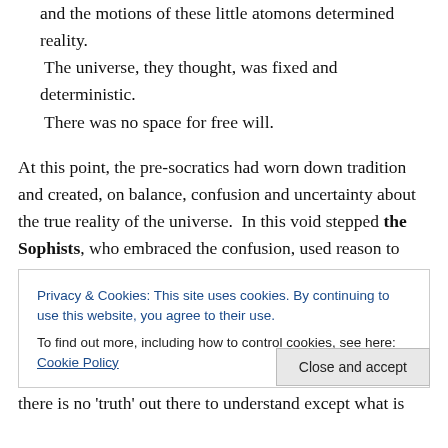and the motions of these little atomons determined reality. The universe, they thought, was fixed and deterministic. There was no space for free will.
At this point, the pre-socratics had worn down tradition and created, on balance, confusion and uncertainty about the true reality of the universe.  In this void stepped the Sophists, who embraced the confusion, used reason to argue their points, and hired out their intellectual abilities to aid whoever could pay (they were often lawyers actually).  I'll mention five Sophists.  First, Protagoras (400-422 BC), perhaps the most famous sophist, argued
Privacy & Cookies: This site uses cookies. By continuing to use this website, you agree to their use.
To find out more, including how to control cookies, see here: Cookie Policy
there is no 'truth' out there to understand except what is